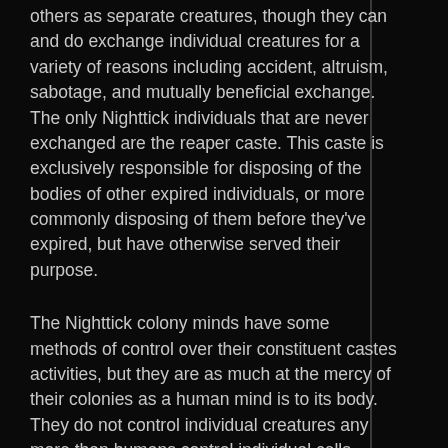others as separate creatures, though they can and do exchange individual creatures for a variety of reasons including accident, altruism, sabotage, and mutually beneficial exchange. The only Nighttick individuals that are never exchanged are the reaper caste. This caste is exclusively responsible for disposing of the bodies of other expired individuals, or more commonly disposing of them before they've expired, but have otherwise served their purpose.
The Nighttick colony minds have some methods of control over their constituent castes activities, but they are as much at the mercy of their colonies as a human mind is to its body. They do not control individual creatures any more than humans control individual cells, though they can influence larger scale movements and changes within their colony.